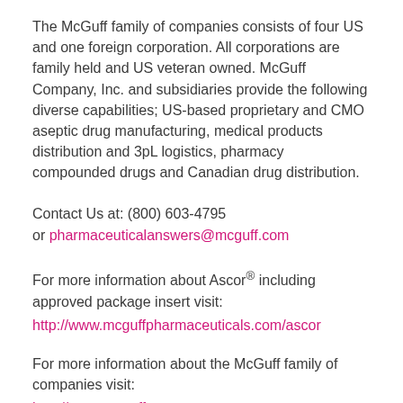The McGuff family of companies consists of four US and one foreign corporation. All corporations are family held and US veteran owned. McGuff Company, Inc. and subsidiaries provide the following diverse capabilities; US-based proprietary and CMO aseptic drug manufacturing, medical products distribution and 3pL logistics, pharmacy compounded drugs and Canadian drug distribution.
Contact Us at: (800) 603-4795 or pharmaceuticalanswers@mcguff.com
For more information about Ascor® including approved package insert visit:
http://www.mcguffpharmaceuticals.com/ascor
For more information about the McGuff family of companies visit:
http://www.mcguff.com